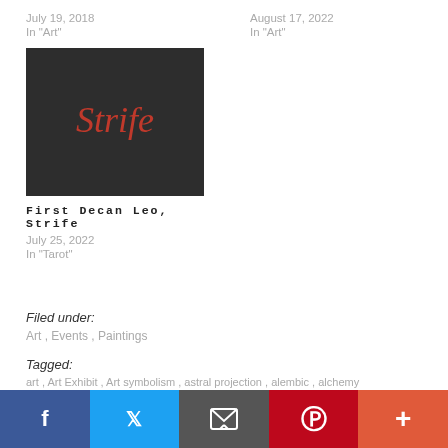July 19, 2018
In "Art"
August 17, 2022
In "Art"
[Figure (illustration): Dark background image with red cursive text reading 'Strife']
First Decan Leo, Strife
July 25, 2022
In "Tarot"
Filed under:
Art , Events , Paintings
Tagged:
art , Art Exhibit , Art symbolism , astral projection , alembic , alchemy
Facebook Twitter Email Pinterest More